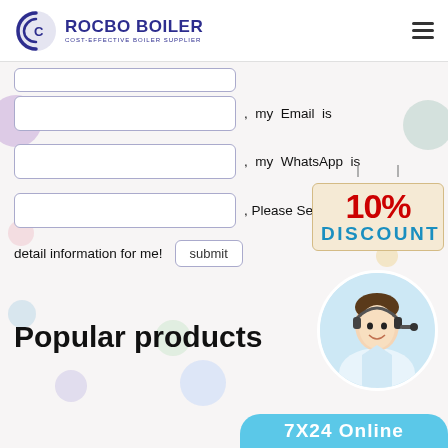[Figure (logo): Rocbo Boiler logo with circular C icon and text 'ROCBO BOILER COST-EFFECTIVE BOILER SUPPLIER']
, my Email is
, my WhatsApp is
, Please Send the detail information for me!
[Figure (infographic): 10% DISCOUNT badge hanging sign in red and teal]
Popular products
[Figure (photo): Customer service agent woman with headset in circular frame]
7X24 Online